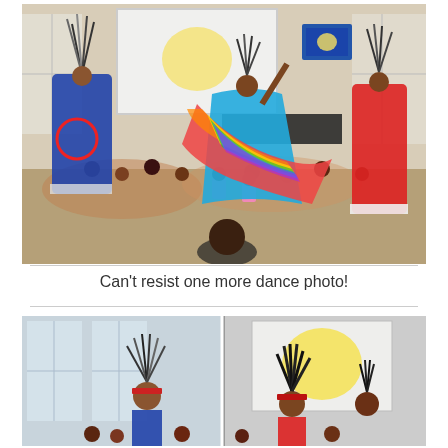[Figure (photo): Native American dancers in colorful traditional regalia performing for a seated audience of children in an indoor venue. Three dancers are visible with feathered headdresses and vibrant costumes. A projection screen and monitor are visible in the background.]
Can't resist one more dance photo!
[Figure (photo): Two side-by-side photos of Native American performers in traditional headdresses and regalia standing in front of a projection screen showing a sunflower image.]